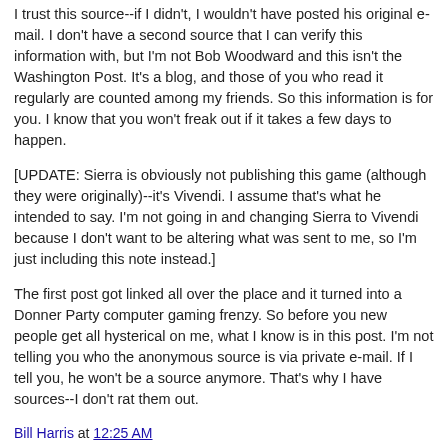I trust this source--if I didn't, I wouldn't have posted his original e-mail. I don't have a second source that I can verify this information with, but I'm not Bob Woodward and this isn't the Washington Post. It's a blog, and those of you who read it regularly are counted among my friends. So this information is for you. I know that you won't freak out if it takes a few days to happen.
[UPDATE: Sierra is obviously not publishing this game (although they were originally)--it's Vivendi. I assume that's what he intended to say. I'm not going in and changing Sierra to Vivendi because I don't want to be altering what was sent to me, so I'm just including this note instead.]
The first post got linked all over the place and it turned into a Donner Party computer gaming frenzy. So before you new people get all hysterical on me, what I know is in this post. I'm not telling you who the anonymous source is via private e-mail. If I tell you, he won't be a source anymore. That's why I have sources--I don't rat them out.
Bill Harris at 12:25 AM